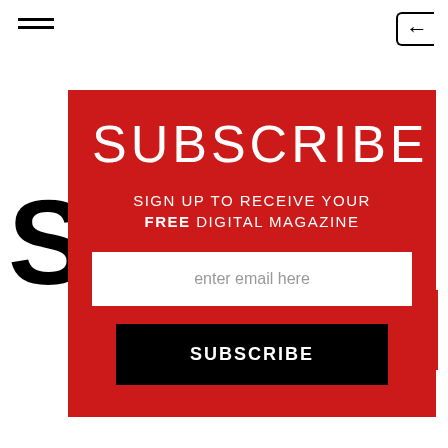[Figure (screenshot): Mobile app screenshot showing a subscription modal overlay on a red background with SUBSCRIBE heading, email input field, and subscribe button. Behind the modal: hamburger menu icon top-left, back arrow top-right, partial large letter and article title text reading 'Best Time Waster' at the bottom.]
SUBSCRIBE
SIGN UP TO RECEIVE YOUR FREE DIGITAL MAGAZINE
enter email here
SUBSCRIBE
Best Time Waster